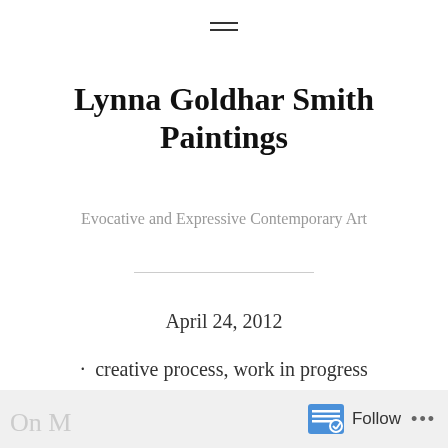≡
Lynna Goldhar Smith Paintings
Evocative and Expressive Contemporary Art
April 24, 2012
· creative process, work in progress
Follow •••